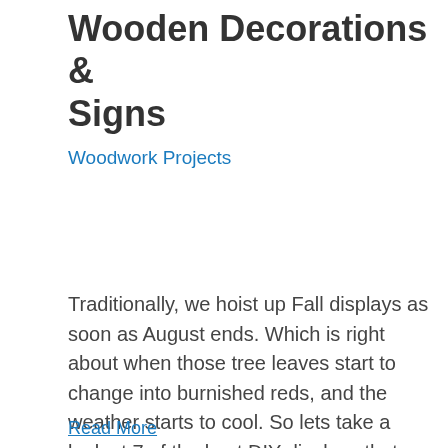Wooden Decorations & Signs
Woodwork Projects
Traditionally, we hoist up Fall displays as soon as August ends. Which is right about when those tree leaves start to change into burnished reds, and the weather starts to cool. So lets take a look at 7 of the best DIY displays that celebrate the most awesome time of year! 1 DIY Fall Porch …
Read More